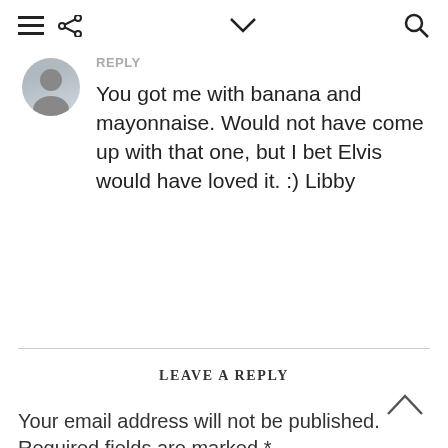≡ ⋮ ∨ 🔍
REPLY
You got me with banana and mayonnaise. Would not have come up with that one, but I bet Elvis would have loved it. :) Libby
LEAVE A REPLY
Your email address will not be published. Required fields are marked *